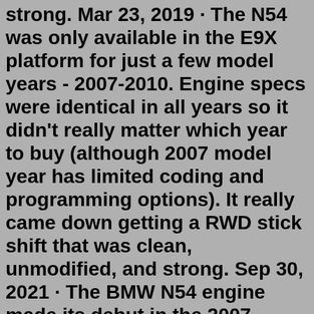strong. Mar 23, 2019 · The N54 was only available in the E9X platform for just a few model years - 2007-2010. Engine specs were identical in all years so it didn't really matter which year to buy (although 2007 model year has limited coding and programming options). It really came down getting a RWD stick shift that was clean, unmodified, and strong. Sep 30, 2021 · The BMW N54 engine made its debut in the 2007 E90/E92 335i. It then made its way into a handful of other models including the 135i, 535i, and Z4. The twin turbo 3.0L inline-6 direct injection engine was a totally new direction for BMW at the time. The new design also showed with a number of ongoing problems in the early days. The N54 is a twin-turbocharged, direct injection engine, and from the factory, it made 300HP/300TQ at only 8PSI. With a simple ECU flash/tune, you can make around 380HP and around 400lb-ft of torque. Since this motor shipped with forged internals, a few mods can reveal insane power.May 17, 2019 · 1. NJ Allegedly Hunting Facebook For Illegal Diesels. 2. Honda SUV